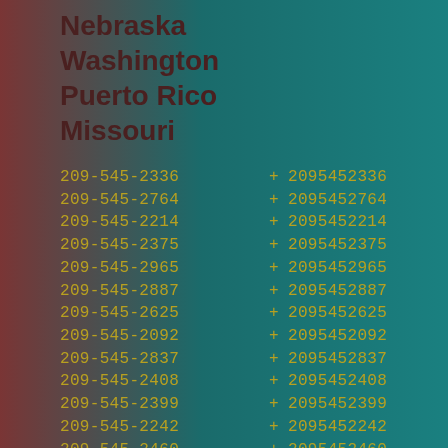Nebraska
Washington
Puerto Rico
Missouri
209-545-2336 + 2095452336
209-545-2764 + 2095452764
209-545-2214 + 2095452214
209-545-2375 + 2095452375
209-545-2965 + 2095452965
209-545-2887 + 2095452887
209-545-2625 + 2095452625
209-545-2092 + 2095452092
209-545-2837 + 2095452837
209-545-2408 + 2095452408
209-545-2399 + 2095452399
209-545-2242 + 2095452242
209-545-2460 + 2095452460
209-545-2270 + 2095452270
209-545-2899 + 2095452899
209-545-2954 + 2095452954